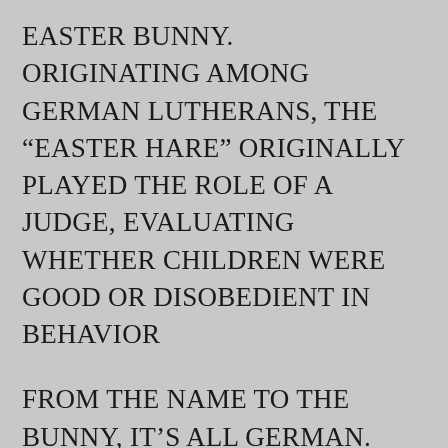EASTER BUNNY. ORIGINATING AMONG GERMAN LUTHERANS, THE “EASTER HARE” ORIGINALLY PLAYED THE ROLE OF A JUDGE, EVALUATING WHETHER CHILDREN WERE GOOD OR DISOBEDIENT IN BEHAVIOR
FROM THE NAME TO THE BUNNY, IT’S ALL GERMAN. THE NAME EASTER WAS FIRST APPROPRIATED BY THE CHRISTIAN CALENDAR. FIRST IT WAS THE PAGAN FESTIVAL OSTARA, CELEBRATED ON THE VERNAL EQUINOX, AROUND MARCH 21 IN THE NORTHERN HEMISPHERE. OSTARA WAS NAMED FOR THE PAGAN GODDESS OF SPRING, EOSTRE